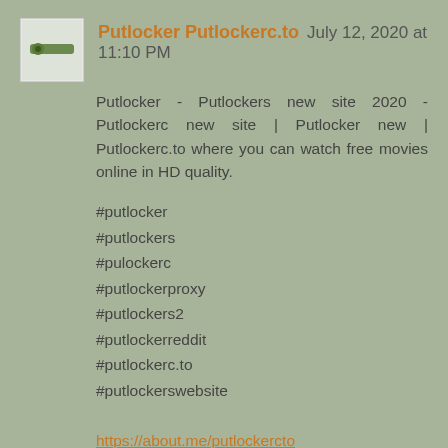Putlocker Putlockerc.to  July 12, 2020 at 11:10 PM
Putlocker - Putlockers new site 2020 - Putlockerc new site | Putlocker new | Putlockerc.to where you can watch free movies online in HD quality.
#putlocker
#putlockers
#pulockerc
#putlockerproxy
#putlockers2
#putlockerreddit
#putlockerc.to
#putlockerswebsite
https://about.me/putlockercto
https://500px.com/putlockercto